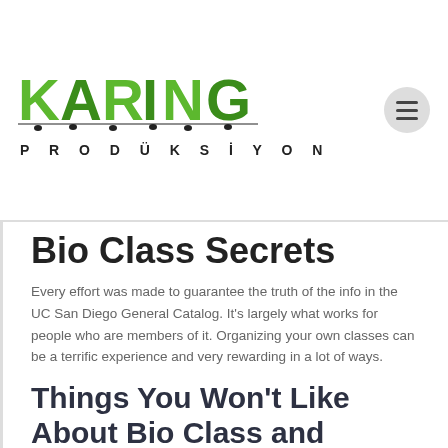KARINGA PRODÜKSIYON
Bio Class Secrets
Every effort was made to guarantee the truth of the info in the UC San Diego General Catalog. It's largely what works for people who are members of it. Organizing your own classes can be a terrific experience and very rewarding in a lot of ways.
Things You Won't Like About Bio Class and Things You Will
Some sites provide free embroidery assistance, as do